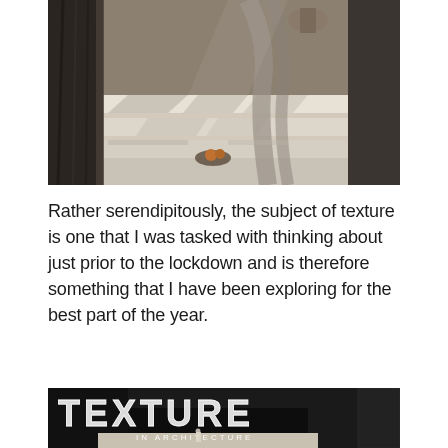[Figure (photo): Interior architectural rendering showing stepped white platforms with dramatic shadow patterns, draped fabric and sculptural elements, warm and neutral tones]
Rather serendipitously, the subject of texture is one that I was tasked with thinking about just prior to the lockdown and is therefore something that I have been exploring for the best part of the year.
[Figure (photo): Dark architectural exterior photograph with large white dotted text overlay reading 'TEXTURE IN ARCHITECTURE', showing dark building facades with a small figure visible]